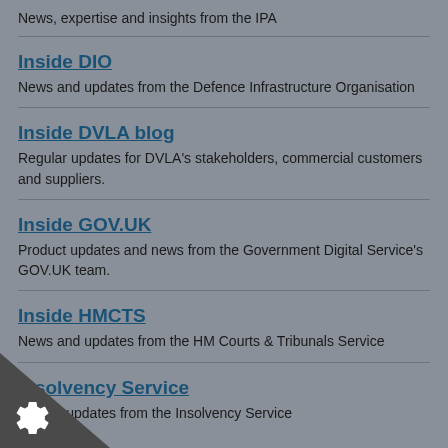News, expertise and insights from the IPA
Inside DIO
News and updates from the Defence Infrastructure Organisation
Inside DVLA blog
Regular updates for DVLA's stakeholders, commercial customers and suppliers.
Inside GOV.UK
Product updates and news from the Government Digital Service's GOV.UK team.
Inside HMCTS
News and updates from the HM Courts & Tribunals Service
Insolvency Service
ws and updates from the Insolvency Service